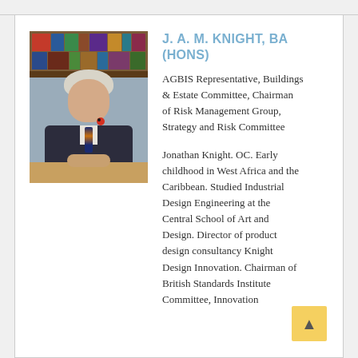[Figure (photo): Portrait photo of J. A. M. Knight, an older man with white/grey hair, wearing a dark suit jacket and striped tie with a poppy, seated at a desk with bookshelves behind him, hands clasped on the desk.]
J. A. M. KNIGHT, BA (HONS)
AGBIS Representative, Buildings & Estate Committee, Chairman of Risk Management Group, Strategy and Risk Committee
Jonathan Knight. OC. Early childhood in West Africa and the Caribbean. Studied Industrial Design Engineering at the Central School of Art and Design. Director of product design consultancy Knight Design Innovation. Chairman of British Standards Institute Committee, Innovation